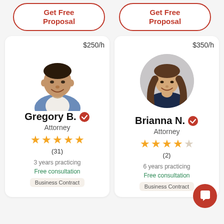[Figure (other): Get Free Proposal button (left, top)]
[Figure (other): Get Free Proposal button (right, top)]
[Figure (photo): Photo of attorney Gregory B., male, smiling, in blue blazer]
$250/h
Gregory B. ✓
Attorney
★★★★★
(31)
3 years practicing
Free consultation
Business Contract
[Figure (photo): Photo of attorney Brianna N., female, long hair, dark blazer, circular crop]
$350/h
Brianna N. ✓
Attorney
★★★★★
(2)
6 years practicing
Free consultation
Business Contract